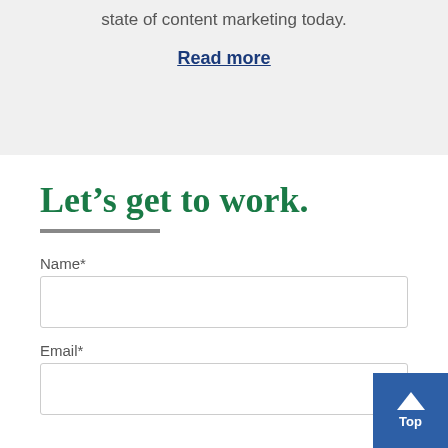state of content marketing today.
Read more
Let's get to work.
Name*
Email*